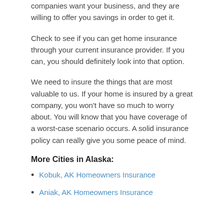companies want your business, and they are willing to offer you savings in order to get it.
Check to see if you can get home insurance through your current insurance provider. If you can, you should definitely look into that option.
We need to insure the things that are most valuable to us. If your home is insured by a great company, you won't have so much to worry about. You will know that you have coverage of a worst-case scenario occurs. A solid insurance policy can really give you some peace of mind.
More Cities in Alaska:
Kobuk, AK Homeowners Insurance
Aniak, AK Homeowners Insurance